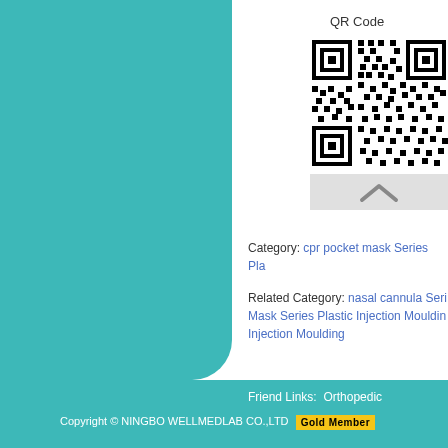QR Code
[Figure (other): QR code image for product page]
[Figure (other): Up arrow button below QR code]
Category: cpr pocket mask Series Pla
Related Category: nasal cannula Seri Mask Series Plastic Injection Mouldin Injection Moulding
Friend Links: Orthopedic
Copyright © NINGBO WELLMEDLAB CO.,LTD Gold Member